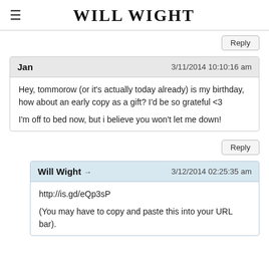WILL WIGHT
Jan  3/11/2014 10:10:16 am
Hey, tommorow (or it's actually today already) is my birthday, how about an early copy as a gift? I'd be so grateful <3

I'm off to bed now, but i believe you won't let me down!
Will Wight →  3/12/2014 02:25:35 am
http://is.gd/eQp3sP

(You may have to copy and paste this into your URL bar).